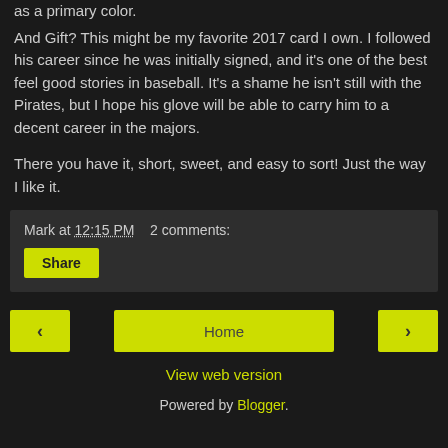as a primary color.
And Gift?  This might be my favorite 2017 card I own.  I followed his career since he was initially signed, and it's one of the best feel good stories in baseball.  It's a shame he isn't still with the Pirates, but I hope his glove will be able to carry him to a decent career in the majors.
There you have it, short, sweet, and easy to sort!  Just the way I like it.
Mark at 12:15 PM    2 comments:
Share
‹
Home
›
View web version
Powered by Blogger.